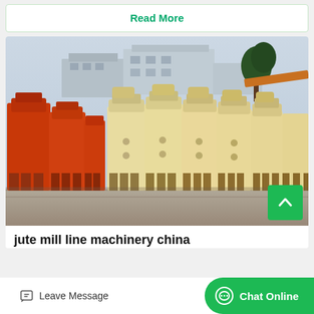Read More
[Figure (photo): Rows of industrial cone crusher machines — orange units on the left, cream/yellow units on the right — parked in an outdoor factory yard with buildings and a tree in the background.]
jute mill line machinery china
Leave Message
Chat Online